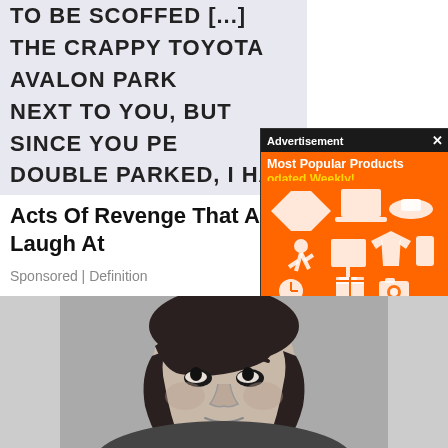[Figure (photo): Handwritten note on paper reading: TO BE SCOFFED [at/...] THE CRAPPY TOYOTA AVALON PARK[ed] NEXT TO YOU, BUT SINCE YOU PE[rked?] DOUBLE PARKED, I HAD TO PARK BLOCKS AWAY A[ND] CURBY ICE CRE[am/...] [SCOR]CHING]
[Figure (screenshot): Advertisement overlay with dark header bar reading 'Advertisement x', orange background, white text 'Most Popular Products', yellow text 'odated Weekly!', and white product icons]
Acts Of Revenge That A Laugh At
Sponsored | Definition
[Figure (photo): Black and white close-up photo of a young woman with dark shoulder-length hair and bangs, looking upward with dark eyes and strong facial features]